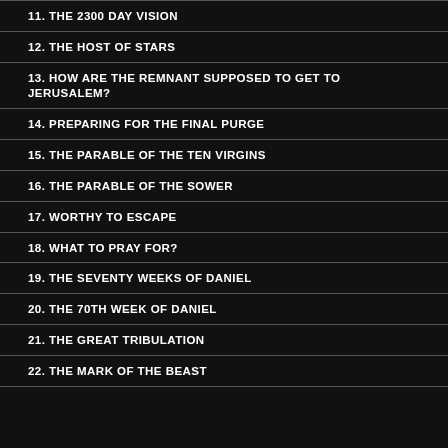11. THE 2300 DAY VISION
12. THE HOST OF STARS
13. HOW ARE THE REMNANT SUPPOSED TO GET TO JERUSALEM?
14. PREPARING FOR THE FINAL PURGE
15. THE PARABLE OF THE TEN VIRGINS
16. THE PARABLE OF THE SOWER
17. WORTHY TO ESCAPE
18. WHAT TO PRAY FOR?
19. THE SEVENTY WEEKS OF DANIEL
20. THE 70TH WEEK OF DANIEL
21. THE GREAT TRIBULATION
22. THE MARK OF THE BEAST